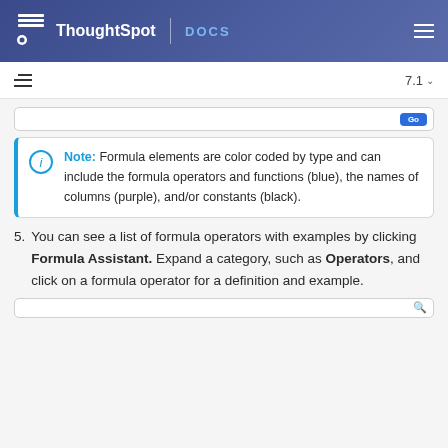ThoughtSpot DOCS
7.1
Note: Formula elements are color coded by type and can include the formula operators and functions (blue), the names of columns (purple), and/or constants (black).
5. You can see a list of formula operators with examples by clicking Formula Assistant. Expand a category, such as Operators, and click on a formula operator for a definition and example.